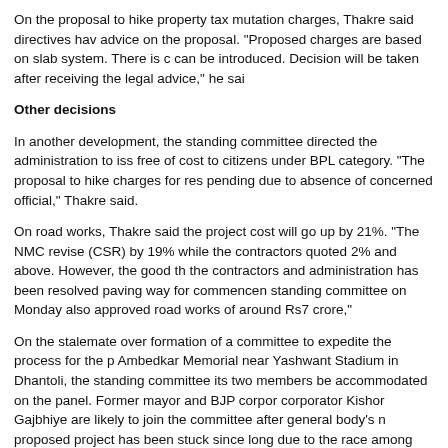On the proposal to hike property tax mutation charges, Thakre said directives have been given to seek legal advice on the proposal. "Proposed charges are based on slab system. There is concern whether such a system can be introduced. Decision will be taken after receiving the legal advice," he said.
Other decisions
In another development, the standing committee directed the administration to issue birth and death certificates free of cost to citizens under BPL category. "The proposal to hike charges for residential properties is still pending due to absence of concerned official," Thakre said.
On road works, Thakre said the project cost will go up by 21%. "The NMC revised the schedule of rates (CSR) by 19% while the contractors quoted 2% and above. However, the good thing is that the dispute between the contractors and administration has been resolved paving way for commencement of works. The standing committee on Monday also approved road works of around Rs7 crore,"
On the stalemate over formation of a committee to expedite the process for the proposed Dr Babasaheb Ambedkar Memorial near Yashwant Stadium in Dhantoli, the standing committee agreed to the NCP demand that its two members be accommodated on the panel. Former mayor and BJP corporator Praful Gudadhe and NCP corporator Kishor Gajbhiye are likely to join the committee after general body's nod. It may be noted that the proposed project has been stuck since long due to the race among corporators to get representation in the committee.